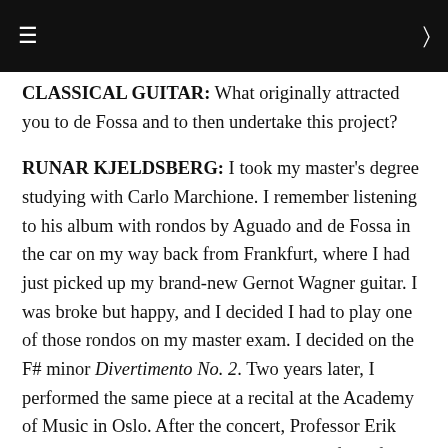≡  Q
CLASSICAL GUITAR: What originally attracted you to de Fossa and to then undertake this project?
RUNAR KJELDSBERG: I took my master's degree studying with Carlo Marchione. I remember listening to his album with rondos by Aguado and de Fossa in the car on my way back from Frankfurt, where I had just picked up my brand-new Gernot Wagner guitar. I was broke but happy, and I decided I had to play one of those rondos on my master exam. I decided on the F# minor Divertimento No. 2. Two years later, I performed the same piece at a recital at the Academy of Music in Oslo. After the concert, Professor Erik Stenstadvold told me that there were very few of de Fossa's solo pieces that were recorded. That got me searching.